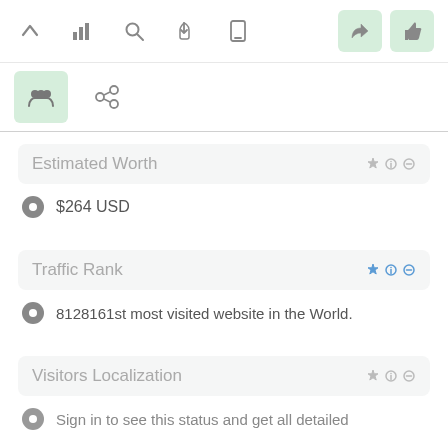[Figure (screenshot): Top toolbar with icons: up arrow, bar chart, search/magnifier, hand/pointer, mobile phone, send/navigation (active, green background), thumbs up (active, green background)]
[Figure (screenshot): Second toolbar row with icons: group/people (active, green background), link/chain]
Estimated Worth
$264 USD
Traffic Rank
8128161st most visited website in the World.
Visitors Localization
Sign in to see this status and get all detailed